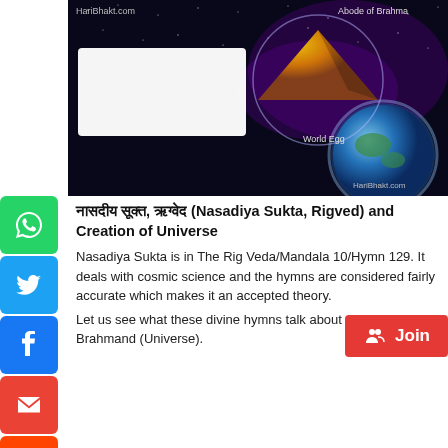[Figure (illustration): Cosmic/space image showing World Egg concept with planet Earth, pyramid shape, stars background, quote box with Rig Veda text, labels: HariBhakt.com, Abode of Brahma, World Egg, HariBhakt.com]
नासदीय सूक्त, ऋग्वेद (Nasadiya Sukta, Rigved) and Creation of Universe
Nasadiya Sukta is in The Rig Veda/Mandala 10/Hymn 129. It deals with cosmic science and the hymns are considered fairly accurate which makes it an accepted theory.
Let us see what these divine hymns talk about Creation of Brahmand (Universe).